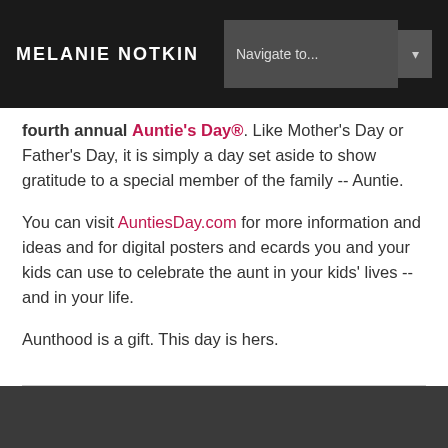MELANIE NOTKIN
fourth annual Auntie's Day®. Like Mother's Day or Father's Day, it is simply a day set aside to show gratitude to a special member of the family -- Auntie.
You can visit AuntiesDay.com for more information and ideas and for digital posters and ecards you and your kids can use to celebrate the aunt in your kids' lives -- and in your life.
Aunthood is a gift. This day is hers.